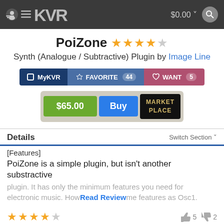KVR $0.00
PoiZone ★★★★☆
Synth (Analogue / Subtractive) Plugin by Image Line
MyKVR  FAVORITE 44  WANT 5
$65.00  Buy  MARKET PLACE
Details  Switch Section
[Features]
PoiZone is a simple plugin, but isn't another substractive plugin. It has only the minimum features you need for electronic music. How... Read Review ...me features as Osc1.
★★★★☆  👍 5  👎 2
PoiZone
Reviewed By grymmjack
September 26th, 2007